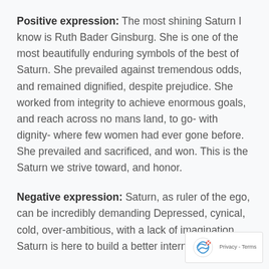Positive expression: The most shining Saturn I know is Ruth Bader Ginsburg. She is one of the most beautifully enduring symbols of the best of Saturn. She prevailed against tremendous odds, and remained dignified, despite prejudice. She worked from integrity to achieve enormous goals, and reach across no mans land, to go- with dignity- where few women had ever gone before. She prevailed and sacrificed, and won. This is the Saturn we strive toward, and honor.
Negative expression: Saturn, as ruler of the ego, can be incredibly demanding Depressed, cynical, cold, over-ambitious, with a lack of imagination. Saturn is here to build a better internal structure